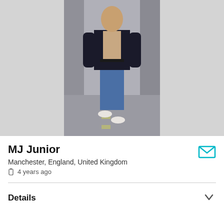[Figure (photo): A man walking towards the camera in an urban alley. He is wearing an open dark jacket with no shirt underneath, showing his torso, and blue jeans with white sneakers. The background shows a narrow street with brick/concrete buildings.]
MJ Junior
Manchester, England, United Kingdom
4 years ago
Details